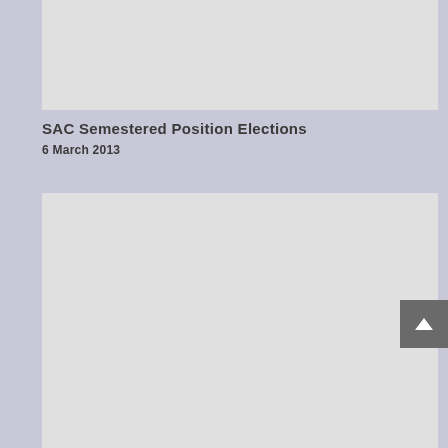[Figure (other): Gray placeholder image at top of content area]
SAC Semestered Position Elections
6 March 2013
[Figure (other): Gray placeholder image in lower portion of content area]